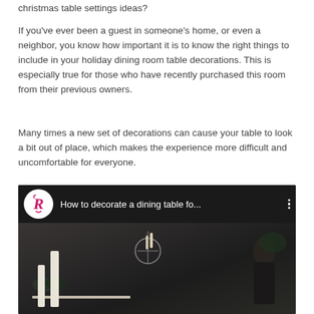christmas table settings ideas?
If you've ever been a guest in someone's home, or even a neighbor, you know how important it is to know the right things to include in your holiday dining room table decorations. This is especially true for those who have recently purchased this room from their previous owners.
Many times a new set of decorations can cause your table to look a bit out of place, which makes the experience more difficult and uncomfortable for everyone.
[Figure (screenshot): Embedded YouTube-style video player showing title 'How to decorate a dining table fo...' with a channel logo featuring a stylized R, and a dark video thumbnail showing a dimly lit dining room scene with candles, a wall sconce, and a person.]